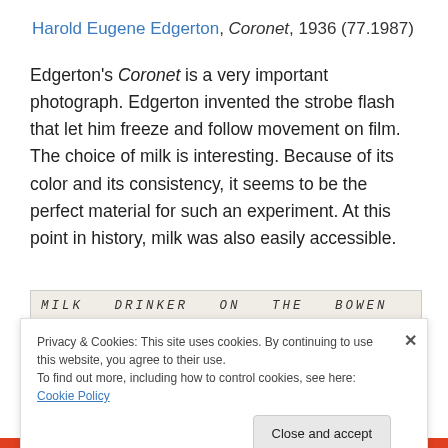Harold Eugene Edgerton, Coronet, 1936 (77.1987)
Edgerton's Coronet is a very important photograph. Edgerton invented the strobe flash that let him freeze and follow movement on film.  The choice of milk is interesting. Because of its color and its consistency, it seems to be the perfect material for such an experiment. At this point in history, milk was also easily accessible.
[Figure (photo): A black and white photograph strip with handwritten label 'MILK DRINKER ON THE BOWEN' at top, dark photographic strip on the left showing a dark scene, a 'NO PARKING' sign in the center, and a textured grey strip on the right.]
Privacy & Cookies: This site uses cookies. By continuing to use this website, you agree to their use.
To find out more, including how to control cookies, see here: Cookie Policy
Close and accept